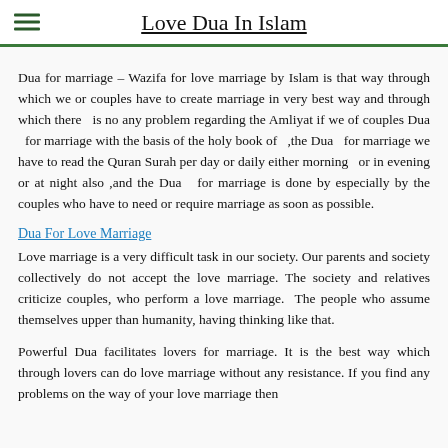Love Dua In Islam
Dua for marriage – Wazifa for love marriage by Islam is that way through which we or couples have to create marriage in very best way and through which there is no any problem regarding the Amliyat if we of couples Dua for marriage with the basis of the holy book of ,the Dua for marriage we have to read the Quran Surah per day or daily either morning or in evening or at night also ,and the Dua for marriage is done by especially by the couples who have to need or require marriage as soon as possible.
Dua For Love Marriage
Love marriage is a very difficult task in our society. Our parents and society collectively do not accept the love marriage. The society and relatives criticize couples, who perform a love marriage. The people who assume themselves upper than humanity, having thinking like that.
Powerful Dua facilitates lovers for marriage. It is the best way which through lovers can do love marriage without any resistance. If you find any problems on the way of your love marriage then